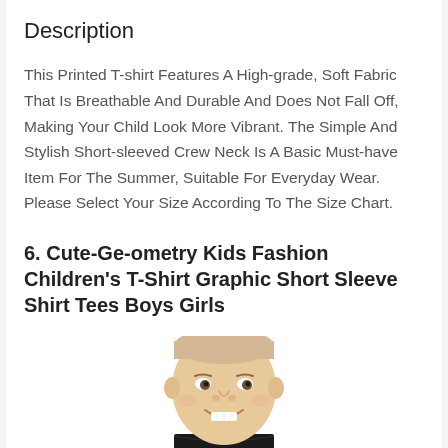Description
This Printed T-shirt Features A High-grade, Soft Fabric That Is Breathable And Durable And Does Not Fall Off, Making Your Child Look More Vibrant. The Simple And Stylish Short-sleeved Crew Neck Is A Basic Must-have Item For The Summer, Suitable For Everyday Wear. Please Select Your Size According To The Size Chart.
6. Cute-Ge-ometry Kids Fashion Children's T-Shirt Graphic Short Sleeve Shirt Tees Boys Girls
[Figure (photo): Smiling child wearing a black t-shirt, photo cropped at upper torso showing face and neck]